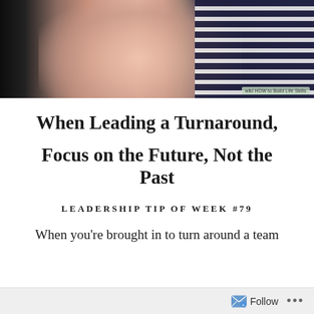[Figure (photo): Close-up photo of a hand with a ring, wearing a blue and white striped shirt, against a dark background. Small watermark text visible at bottom right.]
When Leading a Turnaround,
Focus on the Future, Not the Past
LEADERSHIP TIP OF WEEK #79
When you're brought in to turn around a team